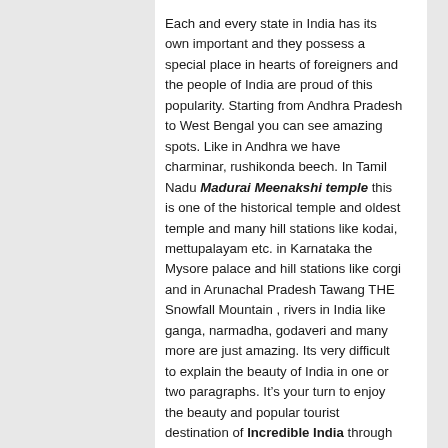Each and every state in India has its own important and they possess a special place in hearts of foreigners and the people of India are proud of this popularity. Starting from Andhra Pradesh to West Bengal you can see amazing spots. Like in Andhra we have charminar, rushikonda beech. In Tamil Nadu Madurai Meenakshi temple this is one of the historical temple and oldest temple and many hill stations like kodai, mettupalayam etc. in Karnataka the Mysore palace and hill stations like corgi and in Arunachal Pradesh Tawang THE Snowfall Mountain , rivers in India like ganga, narmadha, godaveri and many more are just amazing. Its very difficult to explain the beauty of India in one or two paragraphs. It's your turn to enjoy the beauty and popular tourist destination of Incredible India through the photographs enjoy it. Travel India in a Single click.